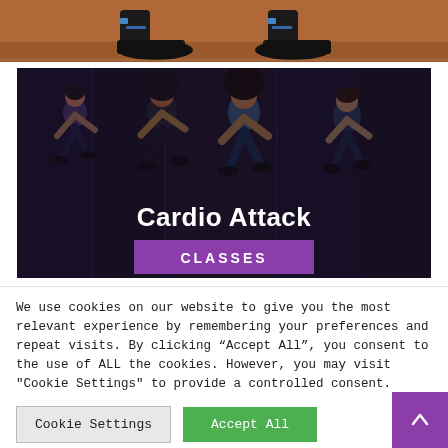[Figure (photo): Cropped photo showing feet and shoes of athletes on a reddish athletic track surface]
[Figure (photo): Dark-toned photo of multiple women running/jogging in athletic wear in a gym or indoor track setting, with 'Cardio Attack' text overlay and 'CLASSES' badge]
We use cookies on our website to give you the most relevant experience by remembering your preferences and repeat visits. By clicking "Accept All", you consent to the use of ALL the cookies. However, you may visit "Cookie Settings" to provide a controlled consent.
Cookie Settings
Accept All